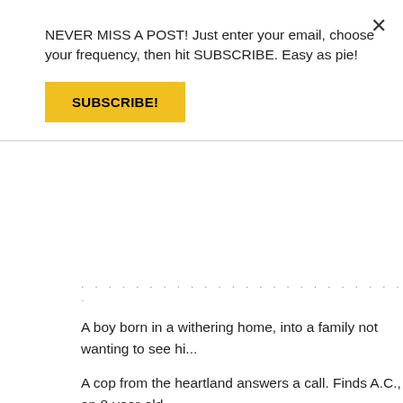NEVER MISS A POST! Just enter your email, choose your frequency, then hit SUBSCRIBE. Easy as pie!
SUBSCRIBE!
A boy born in a withering home, into a family not wanting to see hi...
A cop from the heartland answers a call. Finds A.C., an 8-year-old... disease and neglect... and family. Family who didn't know how to p... didn't know he was dead. Who knows what they saw, but they did... him to see. Birth to death: 8 years. Birth to death: 17 lbs. SEVEN... months, not 8 years. Yet he carried the full weight of his family's p... disregard for him.
So he lay oppressed from the weight of his 17 pounds, and didn't g...
One child. Two possible stories.